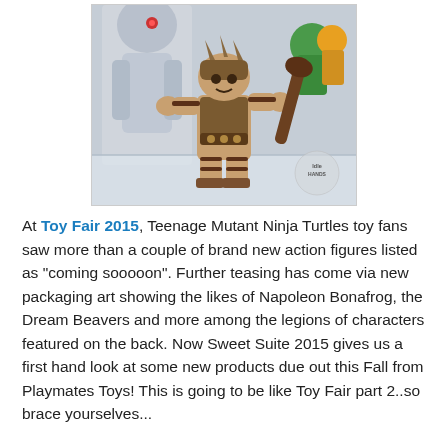[Figure (photo): Photo of a toy action figure resembling a warrior/barbarian character with armor and a weapon, displayed at Toy Fair 2015. Other toy figures visible in background. Watermark reading 'Idle Hands' in bottom right corner.]
At Toy Fair 2015, Teenage Mutant Ninja Turtles toy fans saw more than a couple of brand new action figures listed as "coming sooooon". Further teasing has come via new packaging art showing the likes of Napoleon Bonafrog, the Dream Beavers and more among the legions of characters featured on the back. Now Sweet Suite 2015 gives us a first hand look at some new products due out this Fall from Playmates Toys! This is going to be like Toy Fair part 2..so brace yourselves...